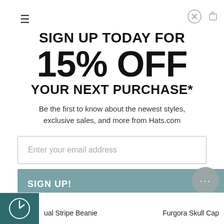[Figure (screenshot): Hamburger menu icon (≡) top left corner]
[Figure (screenshot): Close (X circle) button top right corner]
SIGN UP TODAY FOR 15% OFF YOUR NEXT PURCHASE*
Be the first to know about the newest styles, exclusive sales, and more from Hats.com
Enter your email address
SIGN UP!
*15% off code will be sent to email address submitted above. Some exclusions apply.
Dual Stripe Beanie
Furgora Skull Cap